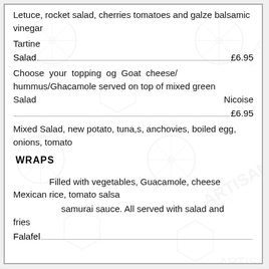Letuce, rocket salad, cherries tomatoes and galze balsamic vinegar
Tartine
Salad....................................................................£6.95
Choose your topping og Goat cheese/hummus/Ghacamole served on top of mixed green Salad                                                  Nicoise
..........................................................................£6.95
Mixed Salad, new potato, tuna,s, anchovies, boiled egg, onions, tomato
WRAPS
Filled with vegetables, Guacamole, cheese Mexican rice, tomato salsa
samurai sauce. All served with salad and fries
Falafel.......................................................................